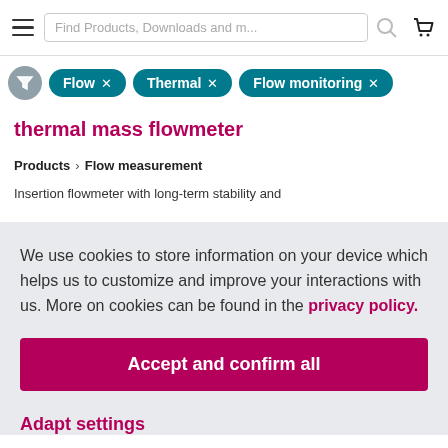Find Products, Downloads and m...
Flow × Thermal × Flow monitoring ×
thermal mass flowmeter
Products > Flow measurement
Insertion flowmeter with long-term stability and
We use cookies to store information on your device which helps us to customize and improve your interactions with us. More on cookies can be found in the privacy policy.
Accept and confirm all
Adapt settings